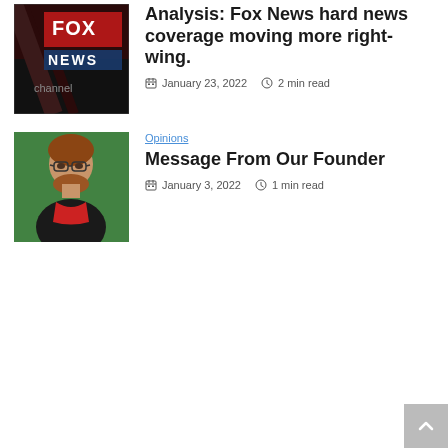[Figure (photo): Fox News channel sign/logo photo, partially cropped, showing FOX NEWS text on a dark background]
Analysis: Fox News hard news coverage moving more right-wing.
January 23, 2022  2 min read
[Figure (photo): Portrait photo of a man with reddish hair and beard wearing glasses, against a green background]
Opinions
Message From Our Founder
January 3, 2022  1 min read